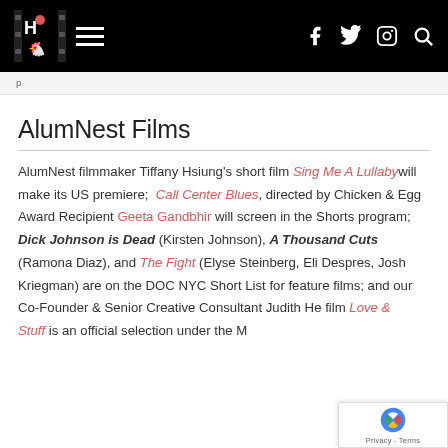AlumNest Films website navigation bar with logo, hamburger menu, and social icons (Facebook, Twitter, Instagram, Search)
AlumNest Films
AlumNest filmmaker Tiffany Hsiung's short film Sing Me A Lullaby will make its US premiere; Call Center Blues, directed by Chicken & Egg Award Recipient Geeta Gandbhir will screen in the Shorts program; Dick Johnson is Dead (Kirsten Johnson), A Thousand Cuts (Ramona Diaz), and The Fight (Elyse Steinberg, Eli Despres, Josh Kriegman) are on the DOC NYC Short List for feature films; and our Co-Founder & Senior Creative Consultant Judith He film Love & Stuff is an official selection under the M